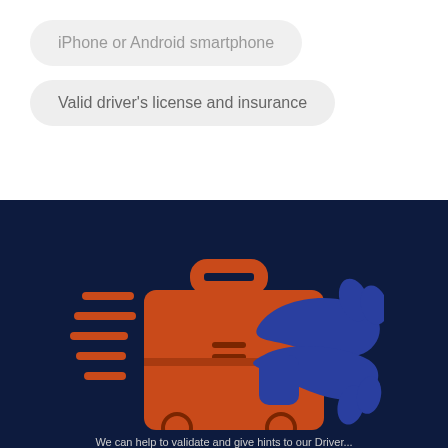iPhone or Android smartphone
Valid driver's license and insurance
[Figure (illustration): Orange fast-moving delivery briefcase icon with speed lines on the left, and a blue handshake icon on the right, on a dark navy background]
We can help to validate and give hints to our Driver...